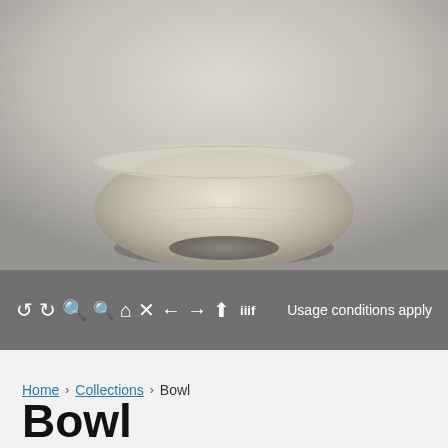[Figure (photo): Close-up photo of a ceramic bowl artifact, light beige/cream colored with a rounded form, photographed against a light gray gradient background. Only the lower portion and base of the bowl is visible, cropped at the top.]
ↄↄ 🔍🔍🏠✕←→⬆ iiif   Usage conditions apply
Home › Collections › Bowl
Bowl